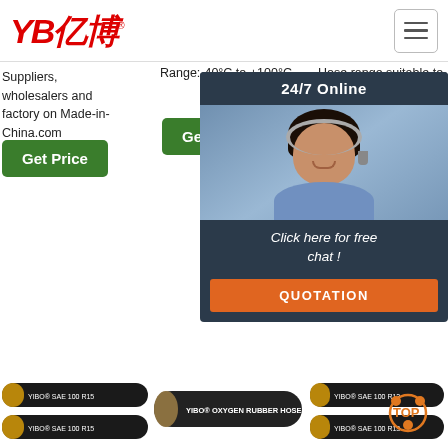YB亿博 logo and navigation
Suppliers, wholesalers and factory on Made-in-China.com
Range:-40°C to +100°C
Hose range suitable to carry hydraulic fluid, glycol, emulsion, hydraulic oil WORKING TEMPERATURE
Get Price
Get Price
[Figure (screenshot): 24/7 Online chat widget overlay showing a female customer service agent with headset, 'Click here for free chat!' message and orange QUOTATION button]
[Figure (photo): Two black rubber hydraulic hoses labeled YIBO SAE 100 R15 stacked on top of each other]
[Figure (photo): Single black rubber oxygen hose labeled YIBO OXYGEN RUBBER HOSE]
[Figure (photo): Two black rubber hydraulic hoses labeled YIBO SAE 100 R13 with orange TOP badge watermark]